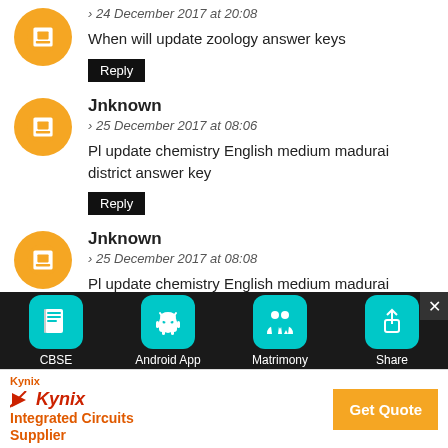24 December 2017 at 20:08
When will update zoology answer keys
Reply
Jnknown
25 December 2017 at 08:06
Pl update chemistry English medium madurai district answer key
Reply
Jnknown
25 December 2017 at 08:08
Pl update chemistry English medium madurai district answer key for Dec 2017
Reply
[Figure (screenshot): Mobile app bottom navigation bar with icons for CBSE, Android App, Matrimony, Share on dark background]
[Figure (screenshot): Kynix Integrated Circuits Supplier advertisement banner with Get Quote button]